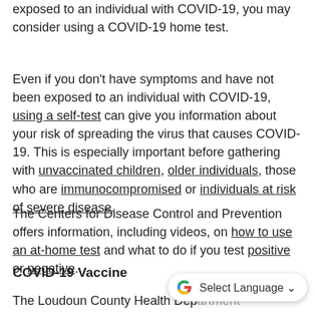exposed to an individual with COVID-19, you may consider using a COVID-19 home test.
Even if you don’t have symptoms and have not been exposed to an individual with COVID-19, using a self-test can give you information about your risk of spreading the virus that causes COVID-19. This is especially important before gathering with unvaccinated children, older individuals, those who are immunocompromised or individuals at risk of severe disease.
The Centers for Disease Control and Prevention offers information, including videos, on how to use an at-home test and what to do if you test positive or negative.
COVID-19 Vaccine
The Loudoun County Health Department encourages everyone age 5 and older fully vaccinated to get a COVID-19 vaccination as